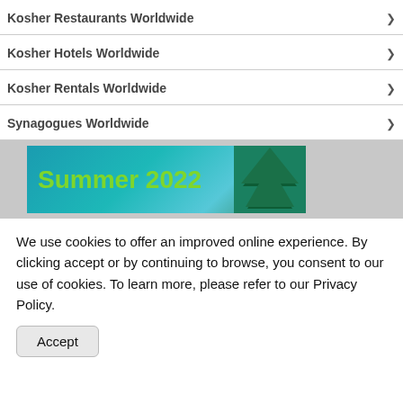Kosher Restaurants Worldwide
Kosher Hotels Worldwide
Kosher Rentals Worldwide
Synagogues Worldwide
[Figure (photo): Summer 2022 banner with blue sky and trees background, green text reading 'Summer 2022']
We use cookies to offer an improved online experience. By clicking accept or by continuing to browse, you consent to our use of cookies. To learn more, please refer to our Privacy Policy.
Accept